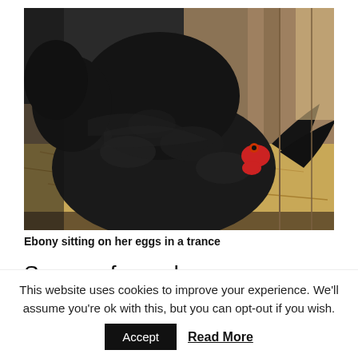[Figure (photo): A black hen (Ebony) sitting on straw/hay in a wooden nesting box, looking at the camera with a red comb and wattles visible.]
Ebony sitting on her eggs in a trance
Some of my hens never go broody as its
This website uses cookies to improve your experience. We'll assume you're ok with this, but you can opt-out if you wish.
Accept   Read More